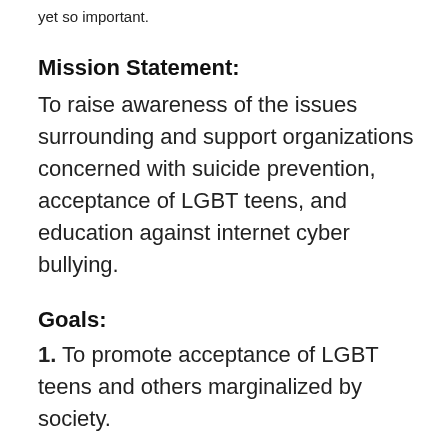yet so important.
Mission Statement:
To raise awareness of the issues surrounding and support organizations concerned with suicide prevention, acceptance of LGBT teens, and education against internet cyber bullying.
Goals:
1. To promote acceptance of LGBT teens and others marginalized by society.